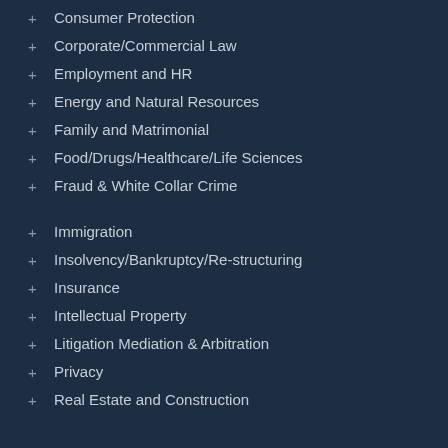+ Consumer Protection
+ Corporate/Commercial Law
+ Employment and HR
+ Energy and Natural Resources
+ Family and Matrimonial
+ Food/Drugs/Healthcare/Life Sciences
+ Fraud & White Collar Crime
+ Immigration
+ Insolvency/Bankruptcy/Re-structuring
+ Insurance
+ Intellectual Property
+ Litigation Mediation & Arbitration
+ Privacy
+ Real Estate and Construction